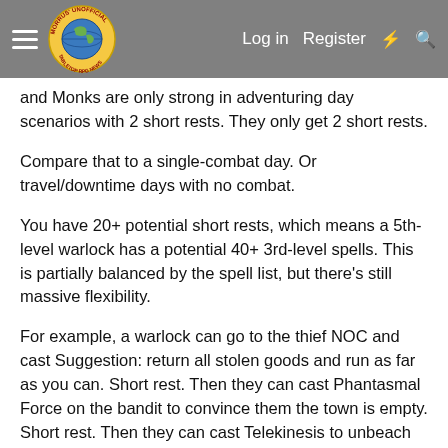Morrus' Unofficial Tabletop RPG News — Log in  Register
and Monks are only strong in adventuring day scenarios with 2 short rests. They only get 2 short rests.
Compare that to a single-combat day. Or travel/downtime days with no combat.
You have 20+ potential short rests, which means a 5th-level warlock has a potential 40+ 3rd-level spells. This is partially balanced by the spell list, but there's still massive flexibility.
For example, a warlock can go to the thief NOC and cast Suggestion: return all stolen goods and run as far as you can. Short rest. Then they can cast Phantasmal Force on the bandit to convince them the town is empty. Short rest. Then they can cast Telekinesis to unbeach the ship. Short rest. Then they cast Detect Thoughts on the shifty man in